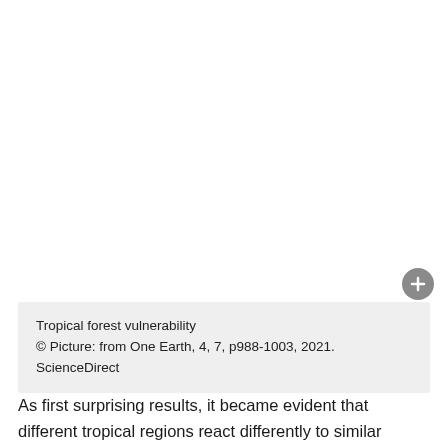[Figure (photo): Blank white area representing a cropped or missing image of tropical forest vulnerability]
Tropical forest vulnerability
© Picture: from One Earth, 4, 7, p988-1003, 2021. ScienceDirect
As first surprising results, it became evident that different tropical regions react differently to similar climate